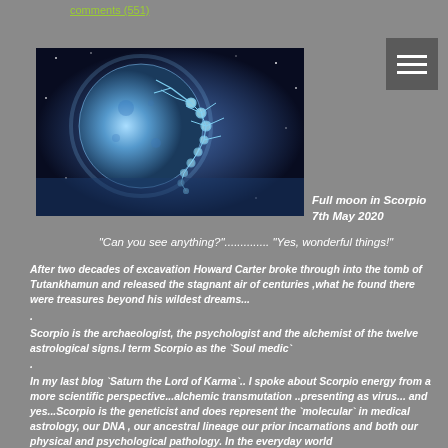comments (551)
[Figure (photo): Glowing blue scorpion constellation figure in front of a large full moon against a starry night sky]
Full moon in Scorpio 7th May 2020
"Can you see anything?"............  "Yes, wonderful things!"
After two decades of excavation Howard Carter broke through into the tomb of Tutankhamun and released the stagnant air of centuries ,what he found there were treasures beyond his wildest dreams...
.
Scorpio is the archaeologist, the psychologist and the alchemist of the twelve astrological signs.I term Scorpio as the `Soul medic`
.
In my last blog `Saturn the Lord of Karma`.. I spoke about Scorpio energy from a more scientific perspective...alchemic transmutation ..presenting as virus... and yes...Scorpio is the geneticist and does represent the `molecular` in medical astrology, our DNA , our ancestral lineage our prior incarnations and both our physical and psychological pathology. In the everyday world